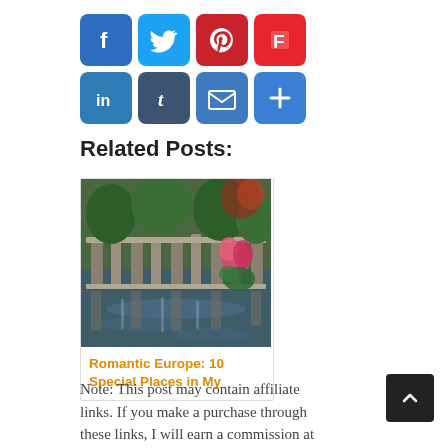[Figure (other): Row of social media share buttons: Facebook (blue), Twitter (light blue), Pinterest (dark red), Flipboard (red), LinkedIn (blue), Tumblr (dark slate), Email (blue), and a blue plus/more button below]
Related Posts:
[Figure (photo): A scenic European garden or park with stone statues or balustrades reflected in water, pink flowers in the foreground, lush green trees]
Romantic Europe: 10 Special Places in My
Note: This post may contain affiliate links. If you make a purchase through these links, I will earn a commission at no extra cost to